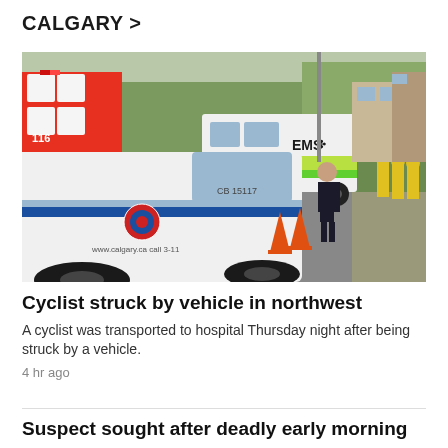CALGARY >
[Figure (photo): A Calgary police SUV (marked CB 15117, www.calgary.ca call 3-11) in the foreground at an intersection, with an EMS ambulance in the background, traffic cones on the road, a female police officer standing in the street, and firefighters in yellow vests visible on the right side. Trees and residential buildings in the background.]
Cyclist struck by vehicle in northwest
A cyclist was transported to hospital Thursday night after being struck by a vehicle.
4 hr ago
Suspect sought after deadly early morning